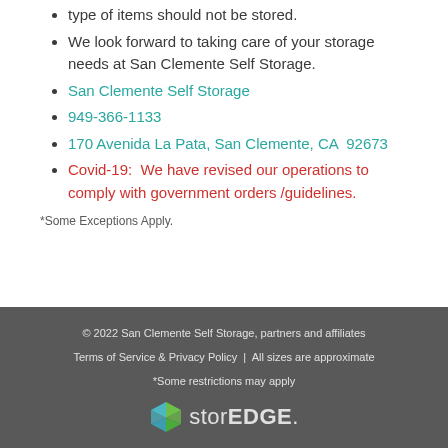type of items should not be stored.
We look forward to taking care of your storage needs at San Clemente Self Storage.
San Clemente Self Storage
949-366-1133
170 Avenida La Pata, San Clemente, CA  92673
Covid-19:  We have revised our operations to comply with government orders /guidelines.
*Some Exceptions Apply.
© 2022 San Clemente Self Storage, partners and affiliates
Terms of Service & Privacy Policy  |  All sizes are approximate
*Some restrictions may apply
storEDGE.